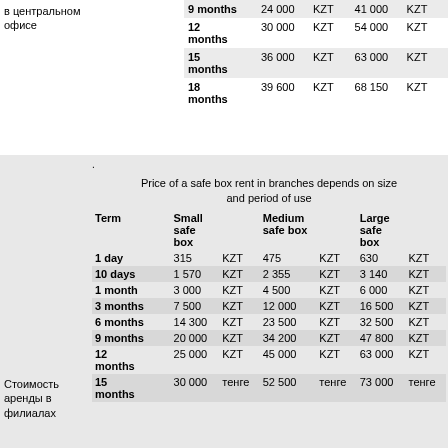| Term | Small safe box |  | Medium safe box |  | Large safe box |  |
| --- | --- | --- | --- | --- | --- | --- |
| 9 months | 24 000 | KZT | 41 000 | KZT | 57 350 | KZT |
| 12 months | 30 000 | KZT | 54 000 | KZT | 75 600 | KZT |
| 15 months | 36 000 | KZT | 63 000 | KZT | 87 600 | KZT |
| 18 months | 39 600 | KZT | 68 150 | KZT | 95 280 | KZT |
Price of a safe box rent in branches depends on size and period of use
| Term | Small safe box |  | Medium safe box |  | Large safe box |  |
| --- | --- | --- | --- | --- | --- | --- |
| 1 day | 315 | KZT | 475 | KZT | 630 | KZT |
| 10 days | 1 570 | KZT | 2 355 | KZT | 3 140 | KZT |
| 1 month | 3 000 | KZT | 4 500 | KZT | 6 000 | KZT |
| 3 months | 7 500 | KZT | 12 000 | KZT | 16 500 | KZT |
| 6 months | 14 300 | KZT | 23 500 | KZT | 32 500 | KZT |
| 9 months | 20 000 | KZT | 34 200 | KZT | 47 800 | KZT |
| 12 months | 25 000 | KZT | 45 000 | KZT | 63 000 | KZT |
| 15 months | 30 000 | тенге | 52 500 | тенге | 73 000 | тенге |